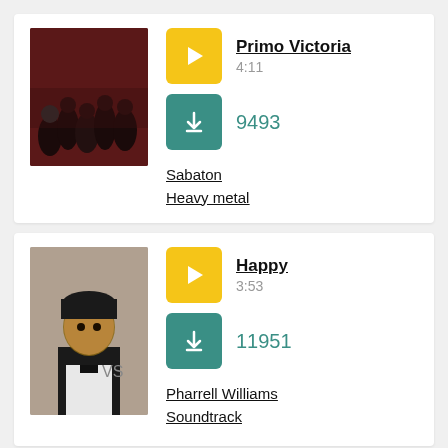[Figure (photo): Band photo of Sabaton (heavy metal group) against dark red background]
Primo Victoria
4:11
9493
Sabaton
Heavy metal
[Figure (photo): Photo of Pharrell Williams wearing a black beanie and bow tie at an event]
Happy
3:53
11951
Pharrell Williams
Soundtrack